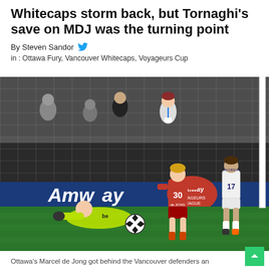Whitecaps storm back, but Tornaghi's save on MDJ was the turning point
By Steven Sandor
in : Ottawa Fury, Vancouver Whitecaps, Voyageurs Cup
[Figure (photo): Soccer match photo showing a goalkeeper in yellow-green kit making a save on the ground against a red-shirted Ottawa Fury player (#30 de Jong) with a white-kitted Vancouver Whitecaps player (#17 Jacobson) nearby, in front of a goal net with Amway advertising boards behind.]
Ottawa's Marcel de Jong got behind the Vancouver defenders an